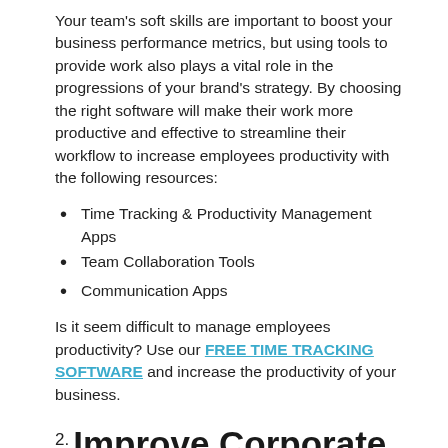Your team's soft skills are important to boost your business performance metrics, but using tools to provide work also plays a vital role in the progressions of your brand's strategy. By choosing the right software will make their work more productive and effective to streamline their workflow to increase employees productivity with the following resources:
Time Tracking & Productivity Management Apps
Team Collaboration Tools
Communication Apps
Is it seem difficult to manage employees productivity? Use our FREE TIME TRACKING SOFTWARE and increase the productivity of your business.
2. Improve Corporate Culture with Recruitment Sessions